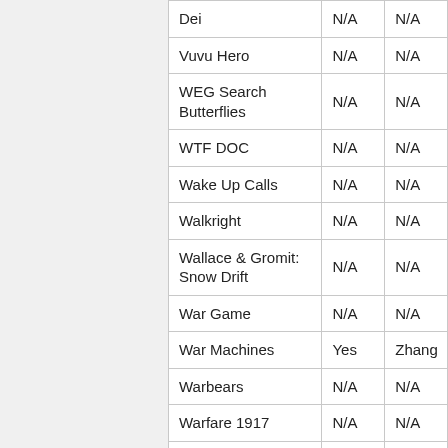| Dei | N/A | N/A |
| Vuvu Hero | N/A | N/A |
| WEG Search Butterflies | N/A | N/A |
| WTF DOC | N/A | N/A |
| Wake Up Calls | N/A | N/A |
| Walkright | N/A | N/A |
| Wallace & Gromit: Snow Drift | N/A | N/A |
| War Game | N/A | N/A |
| War Machines | Yes | Zhang |
| Warbears | N/A | N/A |
| Warfare 1917 | N/A | N/A |
| Warfare 1944 | N/A | N/A |
| Warlords: Call to |  |  |